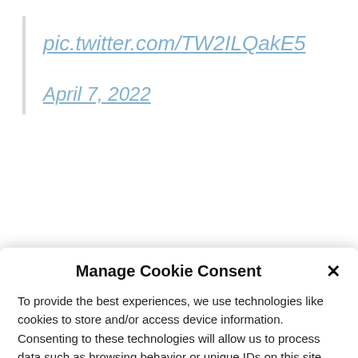pic.twitter.com/TW2ILQakE5
April 7, 2022
reactions of the billionaire who fueled
Manage Cookie Consent
To provide the best experiences, we use technologies like cookies to store and/or access device information. Consenting to these technologies will allow us to process data such as browsing behavior or unique IDs on this site. Not consenting or withdrawing consent, may adversely affect certain features and functions.
Accept